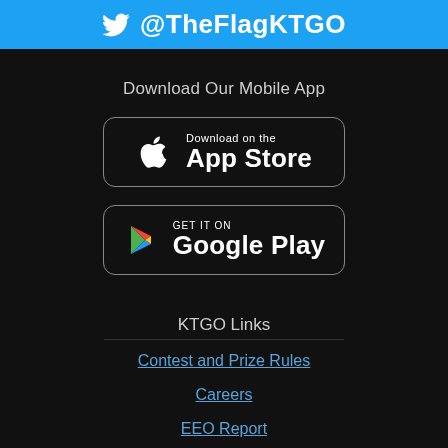[Figure (logo): Twitter bird icon with @TheFlagKTGO handle on blue banner]
Download Our Mobile App
[Figure (logo): Apple App Store download button — Download on the App Store]
[Figure (logo): Google Play store button — GET IT ON Google Play]
KTGO Links
Contest and Prize Rules
Careers
EEO Report